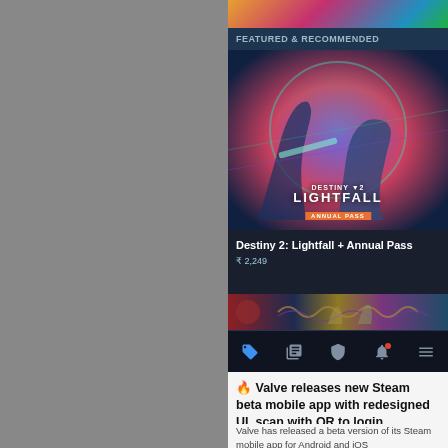[Figure (screenshot): Steam mobile app screenshot showing Featured & Recommended section with Destiny 2: Lightfall + Annual Pass game banner, price ₹2,249, and bottom navigation bar]
🔥 Valve releases new Steam beta mobile app with redesigned UI, scan with QR to login
Valve has released a beta version of its Steam mobile app for Android and iOS